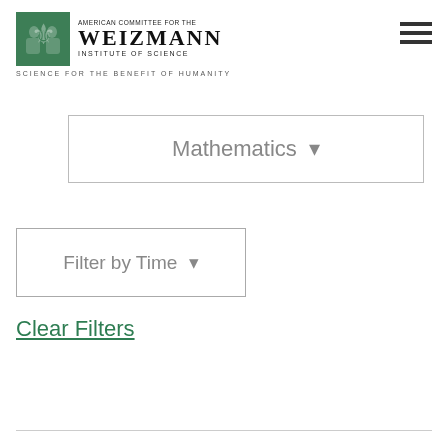[Figure (logo): American Committee for the Weizmann Institute of Science logo with green emblem and text]
SCIENCE FOR THE BENEFIT OF HUMANITY
Mathematics ▾
Filter by Time ▾
Clear Filters